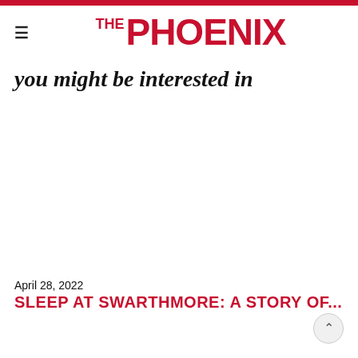THE PHOENIX
you might be interested in
April 28, 2022
SLEEP AT SWARTHMORE: A STORY OF...